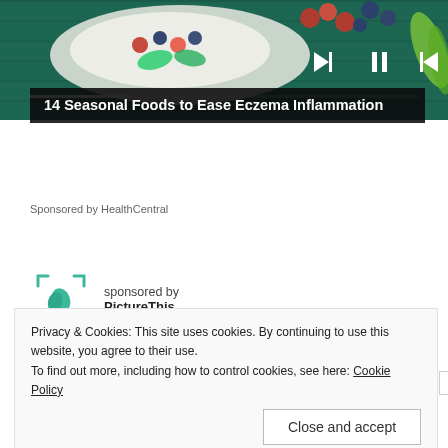[Figure (photo): Hero image of colorful berries, fruits and vegetables on a dark blue wooden background with media player controls (skip back, pause, skip forward) overlaid in white.]
14 Seasonal Foods to Ease Eczema Inflammation
Sponsored by HealthCentral
sponsored by PictureThis
Privacy & Cookies: This site uses cookies. By continuing to use this website, you agree to their use.
To find out more, including how to control cookies, see here: Cookie Policy
Close and accept